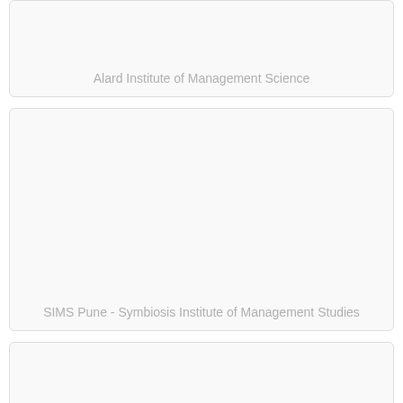Alard Institute of Management Science
SIMS Pune - Symbiosis Institute of Management Studies
AIMS Bangalore